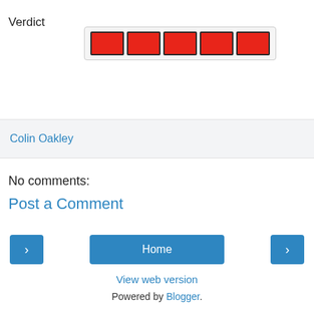Verdict
[Figure (other): Star/rating widget showing 5 red filled boxes in a light gray rounded rectangle border]
Colin Oakley
No comments:
Post a Comment
< Home >
View web version
Powered by Blogger.